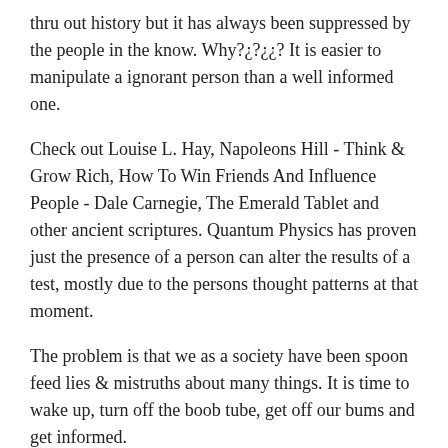thru out history but it has always been suppressed by the people in the know. Why?¿?¿¿? It is easier to manipulate a ignorant person than a well informed one.
Check out Louise L. Hay, Napoleons Hill - Think & Grow Rich, How To Win Friends And Influence People - Dale Carnegie, The Emerald Tablet and other ancient scriptures. Quantum Physics has proven just the presence of a person can alter the results of a test, mostly due to the persons thought patterns at that moment.
The problem is that we as a society have been spoon feed lies & mistruths about many things. It is time to wake up, turn off the boob tube, get off our bums and get informed.
Reply ↲
Randy - 10/09/2010 at 21:47
@D-K
You know? Your brains are lookin' mighty big and juicy